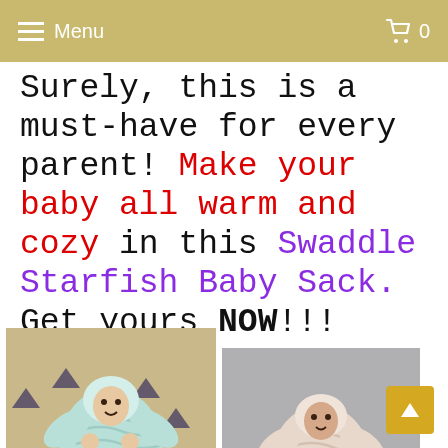Menu  0
Surely, this is a must-have for every parent! Make your baby all warm and cozy in this Swaddle Starfish Baby Sack. Get yours NOW!!!
[Figure (photo): Two photos of babies wearing starfish-shaped swaddle baby sacks. Left photo shows a baby in a light blue chevron-patterned starfish sack on a patterned rug. Right photo shows a baby in a beige/pink chevron-patterned starfish sack on a gray couch.]